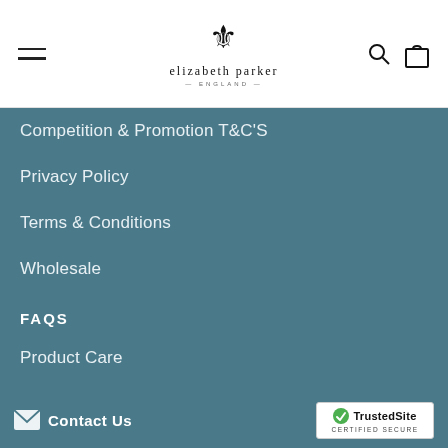elizabeth parker — navigation header with hamburger menu, logo, search and bag icons
Competition & Promotion T&C'S
Privacy Policy
Terms & Conditions
Wholesale
FAQS
Product Care
Where you'll find us
DELIVERY
& Exchanges
u Returns & Exchanges
Contact Us | TrustedSite CERTIFIED SECURE